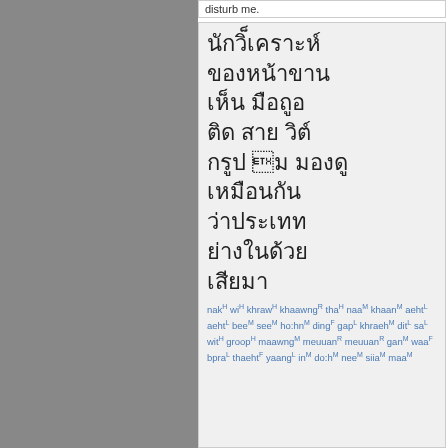disturb me.
Thai text block with romanization: nak(H) wi(H) khraw(H) khaawng(R) tha(H) naa(M) khaan(M) aeht(L) aeht(L) bee(M) see(M) ho:hn(M) ding(F) gap(L) khraeh(M) dit(L) sa(L) wit(H) groop(H) maawng(M) meuuan(R) meuuan(R) gan(M) waa(F) bpra(L) thaeht(F) yaang(L) in(M) do:h(M) nee(M) siia(M) maa(M)
nakH wiH khrawH khaawngR thaH naaM khaanM aehtL aehtL beeM seeM ho:hnM dingF gapL khraehM ditL saL witH groopH maawngM meuuanR meuuanR ganM waaF bpraL thaehtF yaangL inM do:hM neeM siiaM maaM